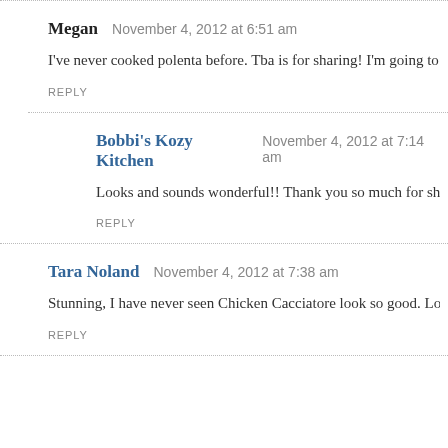Megan   November 4, 2012 at 6:51 am
I've never cooked polenta before. Tba is for sharing! I'm going to give it a
REPLY
Bobbi's Kozy Kitchen   November 4, 2012 at 7:14 am
Looks and sounds wonderful!! Thank you so much for sharing this on Sun
REPLY
Tara Noland   November 4, 2012 at 7:38 am
Stunning, I have never seen Chicken Cacciatore look so good. Lovely pho
REPLY